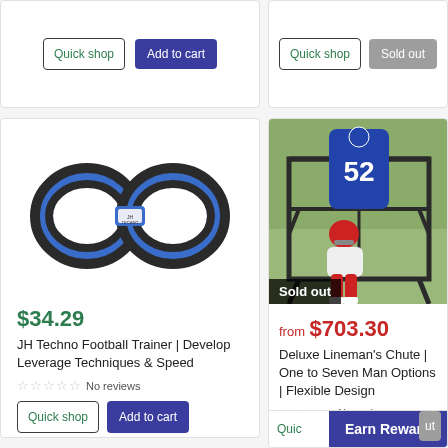[Figure (screenshot): Top-left product card with Quick shop and Add to cart buttons]
[Figure (screenshot): Top-right product card with Quick shop and Sold out buttons]
[Figure (photo): JH Techno Football Trainer - figure-8 shaped resistance band trainer in blue and black]
$34.29
JH Techno Football Trainer | Develop Leverage Techniques & Speed
No reviews
[Figure (photo): Football player using Deluxe Lineman's Chute, metal frame cage with jersey number 52 dummy on top]
from $703.30
Deluxe Lineman's Chute | One to Seven Man Options | Flexible Design
No reviews
Earn Rewards